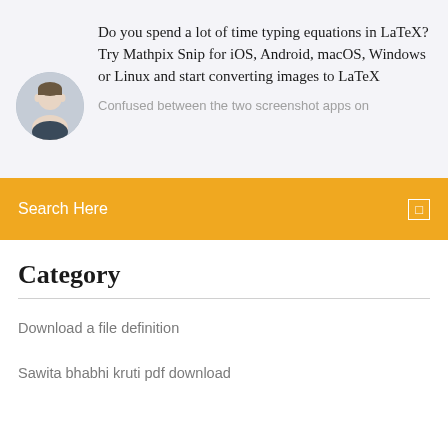Do you spend a lot of time typing equations in LaTeX? Try Mathpix Snip for iOS, Android, macOS, Windows or Linux and start converting images to LaTeX
Confused between the two screenshot apps on
[Figure (illustration): Circular avatar photo of a man]
Search Here
Category
Download a file definition
Sawita bhabhi kruti pdf download